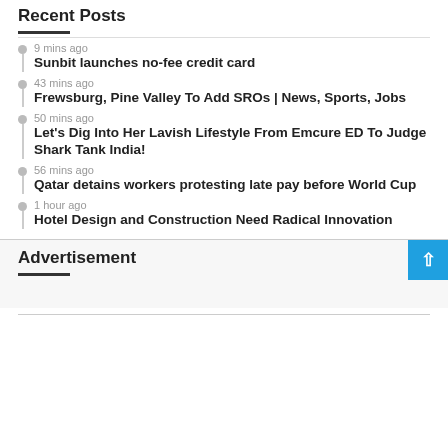Recent Posts
9 mins ago — Sunbit launches no-fee credit card
43 mins ago — Frewsburg, Pine Valley To Add SROs | News, Sports, Jobs
50 mins ago — Let's Dig Into Her Lavish Lifestyle From Emcure ED To Judge Shark Tank India!
56 mins ago — Qatar detains workers protesting late pay before World Cup
1 hour ago — Hotel Design and Construction Need Radical Innovation
Advertisement